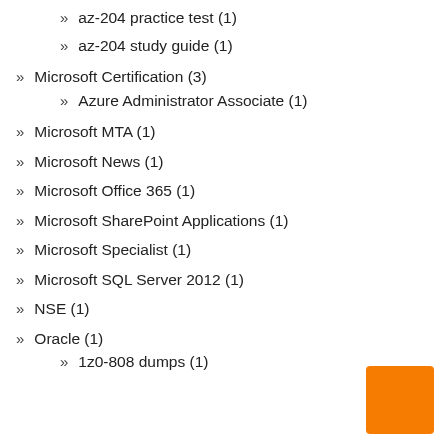az-204 practice test (1)
az-204 study guide (1)
Microsoft Certification (3)
Azure Administrator Associate (1)
Microsoft MTA (1)
Microsoft News (1)
Microsoft Office 365 (1)
Microsoft SharePoint Applications (1)
Microsoft Specialist (1)
Microsoft SQL Server 2012 (1)
NSE (1)
Oracle (1)
1z0-808 dumps (1)